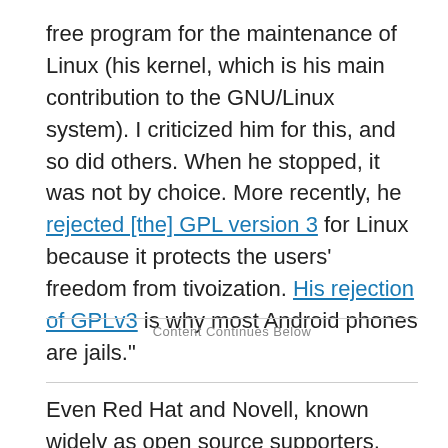free program for the maintenance of Linux (his kernel, which is his main contribution to the GNU/Linux system). I criticized him for this, and so did others. When he stopped, it was not by choice. More recently, he rejected [the] GPL version 3 for Linux because it protects the users' freedom from tivoization. His rejection of GPLv3 is why most Android phones are jails."
Content Continues Below
Even Red Hat and Novell, known widely as open source supporters, don't get a ringing endorsement. "Red Hat partly supports free software. Novell much